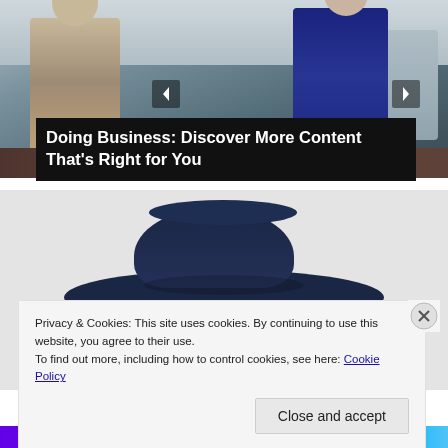[Figure (photo): Photo of two businesspeople shaking hands or exchanging items in an office setting, with a desk and windows in the background.]
Doing Business: Discover More Content That's Right for You
[Figure (photo): Photo of a person wearing a large dark navy cowboy hat, face partially visible beneath the brim.]
Privacy & Cookies: This site uses cookies. By continuing to use this website, you agree to their use.
To find out more, including how to control cookies, see here: Cookie Policy